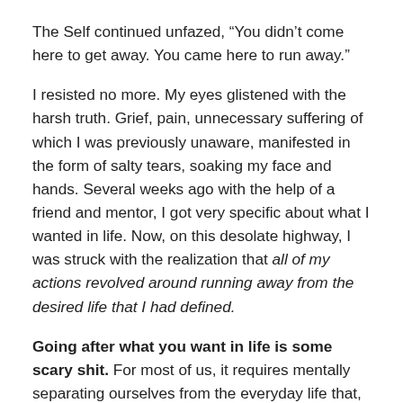The Self continued unfazed, “You didn’t come here to get away. You came here to run away.”
I resisted no more. My eyes glistened with the harsh truth. Grief, pain, unnecessary suffering of which I was previously unaware, manifested in the form of salty tears, soaking my face and hands. Several weeks ago with the help of a friend and mentor, I got very specific about what I wanted in life. Now, on this desolate highway, I was struck with the realization that all of my actions revolved around running away from the desired life that I had defined.
Going after what you want in life is some scary shit. For most of us, it requires mentally separating ourselves from the everyday life that, although marked by chronic dissatisfaction, is comfortable, nonetheless. We clock in. We work. We clock out. We go home. We eat. We do the laundry. We do the dishes. We sleep. We go out on occasion. We travel. We repeat. It can become bland and routine. But it’s FAMILIAR. And when we’re